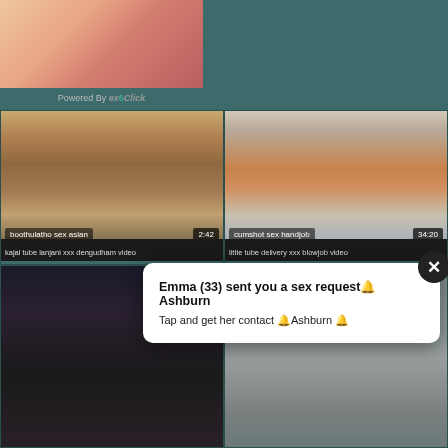[Figure (photo): Adult content close-up image in top-left area]
Powered By exoClick
[Figure (photo): Video thumbnail: woman smiling, label 'boothulatho sex asian', time 2:42]
kajal tube lanjani xxx dengudham video
[Figure (photo): Video thumbnail: woman in kitchen, label 'cumshot sex handjob', time 34:20]
little tube delivery xxx blowjob video
[Figure (photo): Video thumbnail bottom left: dark background with figure]
[Figure (photo): Video thumbnail bottom right: body figure]
Emma (33) sent you a sex requestðAshburn
Tap and get her contact ðAshburn ð